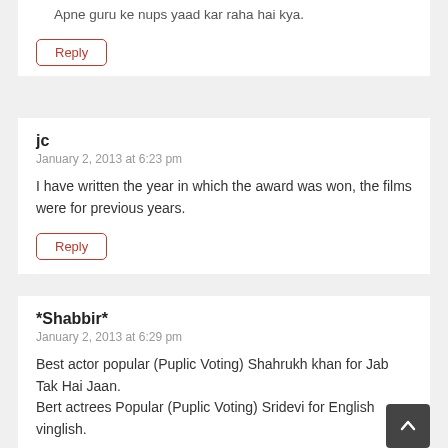Apne guru ke nups yaad kar raha hai kya.
Reply
jc
January 2, 2013 at 6:23 pm
I have written the year in which the award was won, the films were for previous years.
Reply
*Shabbir*
January 2, 2013 at 6:29 pm
Best actor popular (Puplic Voting) Shahrukh khan for Jab Tak Hai Jaan.
Bert actrees Popular (Puplic Voting) Sridevi for English vinglish.